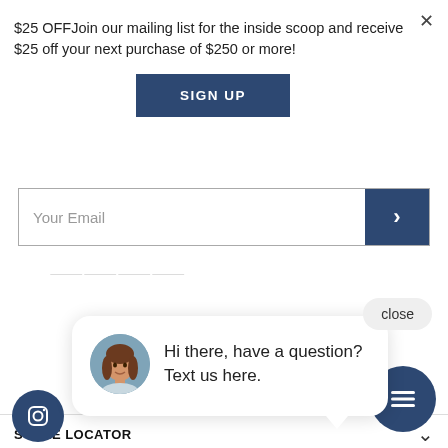$25 OFFJoin our mailing list for the inside scoop and receive $25 off your next purchase of $250 or more!
SIGN UP
Your Email
close
[Figure (photo): Chat bubble with avatar photo of a woman with brown hair, text reads: Hi there, have a question? Text us here.]
Hi there, have a question? Text us here.
STORE LOCATOR